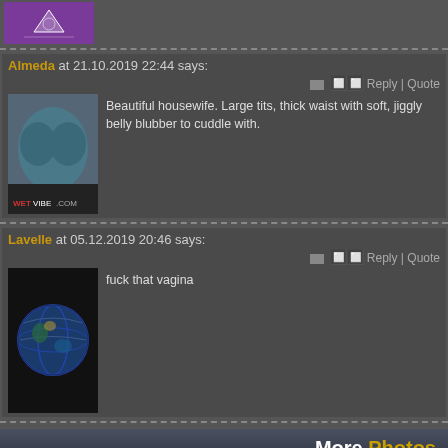[Figure (photo): Top banner/logo image with purple background]
Almeda at 21.10.2019 22:44 says:
Reply | Quote
Beautiful housewife. Large tits, thick waist with soft, jiggly belly blubber to cuddle with.
Lavelle at 05.12.2019 20:46 says:
Reply | Quote
fuck that vagina
More Photos
Latest Photos
Random Gallary